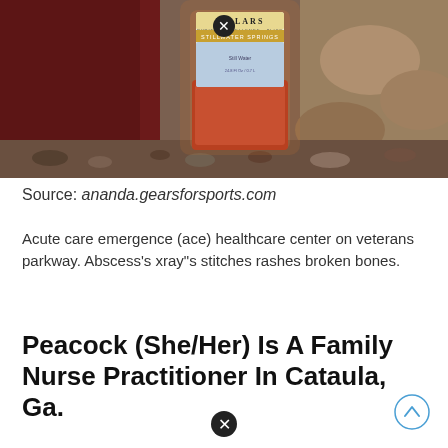[Figure (photo): Photo of a dark red tumbler/bottle and a glass bottle with a decorative label reading 'PILLARS - PURITY, EXCELLENCE, BLISS - STILLWATER SPRINGS', placed on rocky ground near a stream. A close button (X in circle) is visible at the top center.]
Source: ananda.gearsforsports.com
Acute care emergence (ace) healthcare center on veterans parkway. Abscess's xray"s stitches rashes broken bones.
Peacock (She/Her) Is A Family Nurse Practitioner In Cataula, Ga.